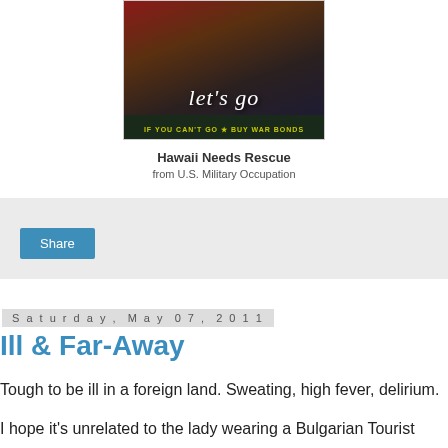[Figure (illustration): Vintage WWII-style poster showing a rocket/firework launch with text 'let's go' and banner 'IF YOU CAN'T GO * BUY WAR BONDS']
Hawaii Needs Rescue
from U.S. Military Occupation
[Figure (other): Gray share widget area with a blue Share button]
Saturday, May 07, 2011
Ill & Far-Away
Tough to be ill in a foreign land. Sweating, high fever, delirium.
I hope it's unrelated to the lady wearing a Bulgarian Tourist